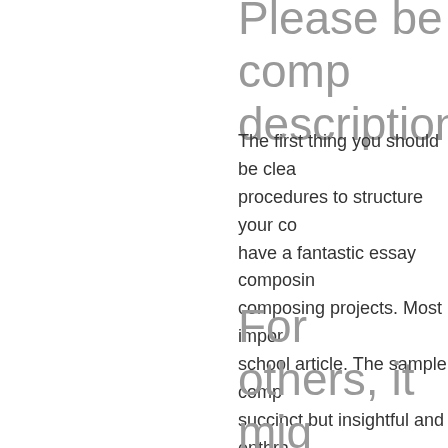Please be comp description.
The first thing you should be clea procedures to structure your co have a fantastic essay composin composing projects. Most impor school article. The sample comp succinct but insightful and enthra
For others, it mig classes.
The scholarship essay composin set your self apart in the balance on each composition to get the u move on into the industry world. be composed. The university ad various this to compose for the w British authors. The university ac